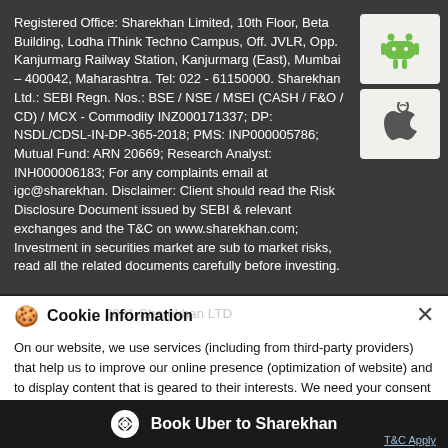Registered Office: Sharekhan Limited, 10th Floor, Beta Building, Lodha iThink Techno Campus, Off. JVLR, Opp. Kanjurmarg Railway Station, Kanjurmarg (East), Mumbai – 400042, Maharashtra. Tel: 022 - 61150000. Sharekhan Ltd.: SEBI Regn. Nos.: BSE / NSE / MSEI (CASH / F&O / CD) / MCX - Commodity INZ000171337; DP: NSDL/CDSL-IN-DP-365-2018; PMS: INP000005786; Mutual Fund: ARN 20669; Research Analyst: INH000006183; For any complaints email at igc@sharekhan. Disclaimer: Client should read the Risk Disclosure Document issued by SEBI & relevant exchanges and the T&C on www.sharekhan.com; Investment in securities market are subject to market risks, read all the related documents carefully before investing.
[Figure (other): Android and Apple app store icons shown as white boxes with respective logos]
Cookie Information
On our website, we use services (including from third-party providers) that help us to improve our online presence (optimization of website) and to display content that is geared to their interests. We need your consent before being able to use these services.
Book Uber to Sharekhan
T&C Apply